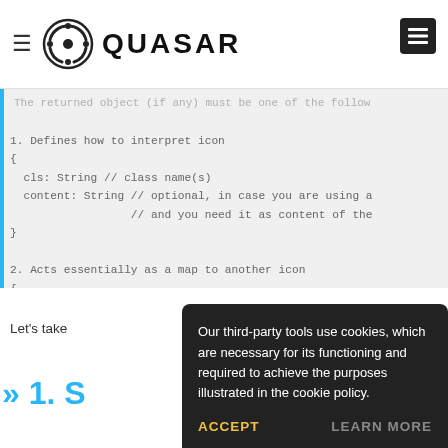QUASAR
The returned object (if any) must be one of the follow
1. Defines how to interpret icon
{
  cls: String // class name(s)
  content: String // optional, in case you are using a
                  // and you need it as content of the
}
2. Acts essentially as a map to another icon
{
  icon: String // the mapped icon String, which will
               // by Quasar as if the original QIcon
}
*/
Let's take
» 1. S
Our third-party tools use cookies, which are necessary for its functioning and required to achieve the purposes illustrated in the cookie policy.